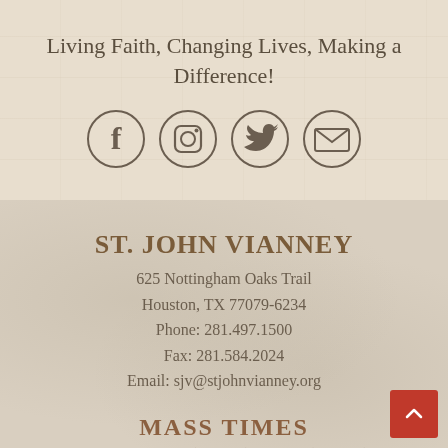Living Faith, Changing Lives, Making a Difference!
[Figure (infographic): Four circular social media / contact icons: Facebook (f), Instagram (camera), Twitter (bird), Email (envelope)]
ST. JOHN VIANNEY
625 Nottingham Oaks Trail
Houston, TX 77079-6234
Phone: 281.497.1500
Fax: 281.584.2024
Email: sjv@stjohnvianney.org
MASS TIMES
Weekday 9:00 am (Mon-Fri), 7:00 pm (Tu & Th)